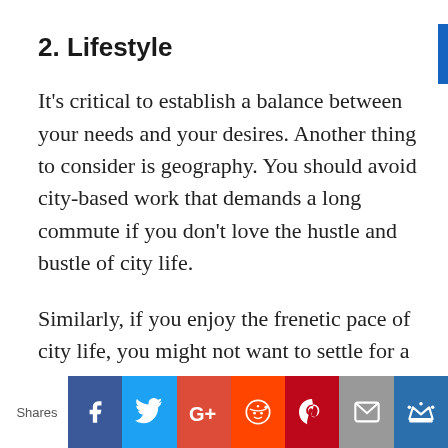2. Lifestyle
It’s critical to establish a balance between your needs and your desires. Another thing to consider is geography. You should avoid city-based work that demands a long commute if you don’t love the hustle and bustle of city life.
Similarly, if you enjoy the frenetic pace of city life, you might not want to settle for a job that needs you to work remotely. However, you have to be very careful not to put yourself in a corner of life! You
Shares  [Facebook] [Twitter] [G+] [Reddit] [Pinterest] [Email] [Crown]